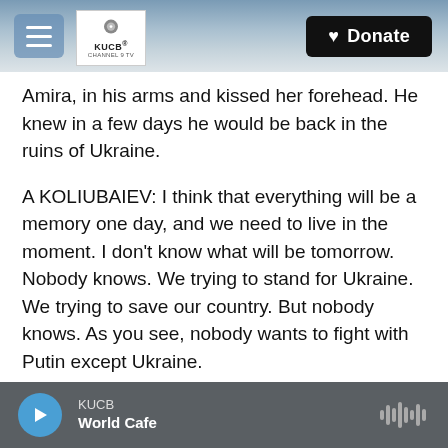[Figure (screenshot): Website header bar with hamburger menu button, KUCB Channel TV logo, and a black Donate button with heart icon. Background shows a snowy mountain/lake landscape photo.]
Amira, in his arms and kissed her forehead. He knew in a few days he would be back in the ruins of Ukraine.
A KOLIUBAIEV: I think that everything will be a memory one day, and we need to live in the moment. I don't know what will be tomorrow. Nobody knows. We trying to stand for Ukraine. We trying to save our country. But nobody knows. As you see, nobody wants to fight with Putin except Ukraine.
MARTINEZ: Is it not even a question for you that you are going to go back?
KUCB  World Cafe